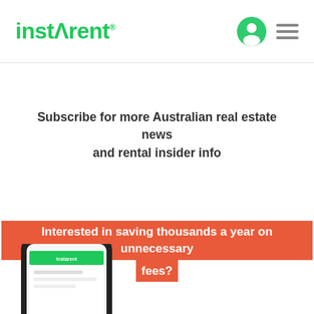instarent®
Subscribe for more Australian real estate news and rental insider info
Interested in saving thousands a year on unnecessary fees?
[Figure (photo): Partial view of a smartphone showing the instarent app interface, cropped at bottom-left corner of the page.]